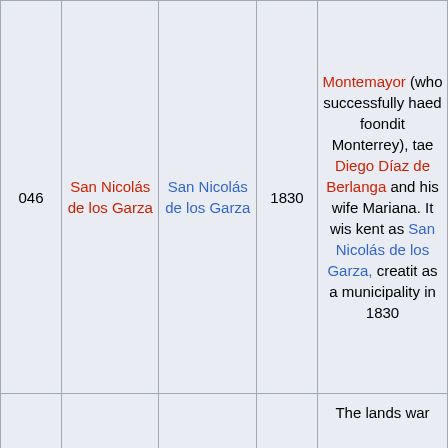| 046 | San Nicolás de los Garza | San Nicolás de los Garza | 1830 | Montemayor (who successfully haed foondit Monterrey), tae Diego Díaz de Berlanga and his wife Mariana. It wis kent as San Nicolás de los Garza, creatit as a municipality in 1830 |
|  |  |  |  | The lands war ... |